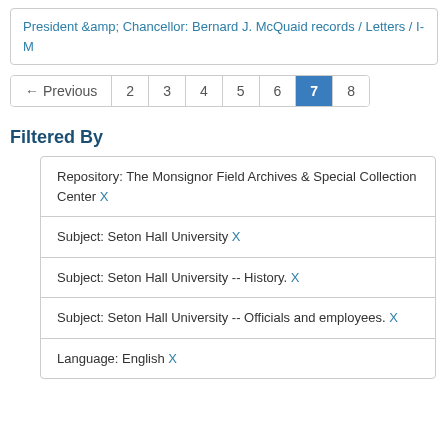President &amp; Chancellor: Bernard J. McQuaid records / Letters / I-M
← Previous  2  3  4  5  6  7  8
Filtered By
Repository: The Monsignor Field Archives & Special Collection Center X
Subject: Seton Hall University X
Subject: Seton Hall University -- History. X
Subject: Seton Hall University -- Officials and employees. X
Language: English X